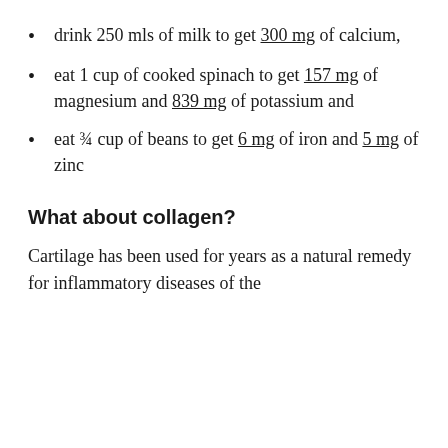drink 250 mls of milk to get 300 mg of calcium,
eat 1 cup of cooked spinach to get 157 mg of magnesium and 839 mg of potassium and
eat ¾ cup of beans to get 6 mg of iron and 5 mg of zinc
What about collagen?
Cartilage has been used for years as a natural remedy for inflammatory diseases of the